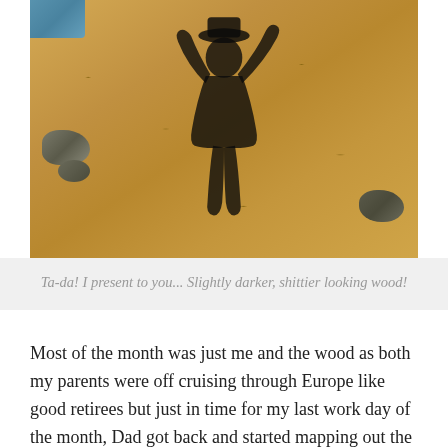[Figure (photo): A person's shadow cast on wood chips and rocks on the ground, with a blue tarp visible in the upper left corner. The shadow appears to show someone with arms raised and wearing a hat.]
Ta-da! I present to you... Slightly darker, shittier looking wood!
Most of the month was just me and the wood as both my parents were off cruising through Europe like good retirees but just in time for my last work day of the month, Dad got back and started mapping out the studs on the house while I stained. Next step is painting the boards with the transparent stain and then it's siding time! This